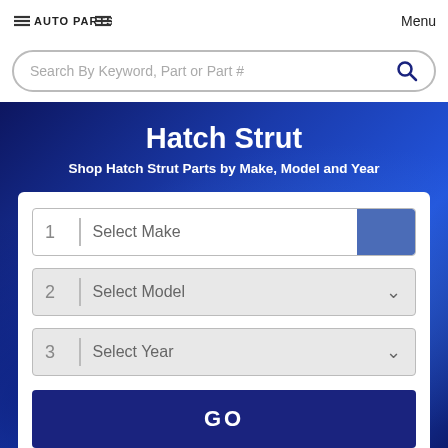AUTO PARTS | Menu
Search By Keyword, Part or Part #
Hatch Strut
Shop Hatch Strut Parts by Make, Model and Year
1 | Select Make
2 | Select Model
3 | Select Year
GO
Shop By Category